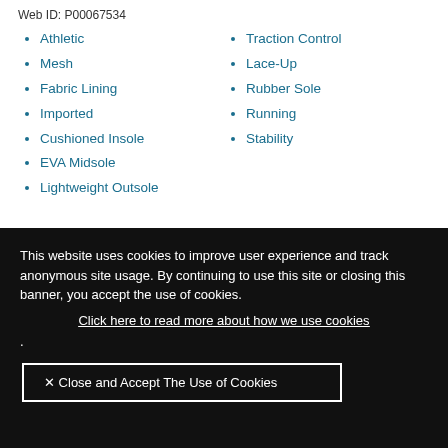Web ID: P00067534
Athletic
Mesh
Fabric Lining
Imported
Cushioned Insole
EVA Midsole
Lightweight Outsole
Traction Control
Lace-Up
Rubber Sole
Running
Stability
This website uses cookies to improve user experience and track anonymous site usage. By continuing to use this site or closing this banner, you accept the use of cookies. Click here to read more about how we use cookies .
✕ Close and Accept The Use of Cookies